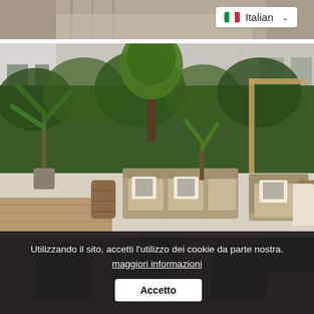[Figure (screenshot): Partial top image of wooden/gravel area with Italian language selector dropdown showing Italian flag and the word 'Italian' with a chevron]
[Figure (photo): Outdoor garden patio with wicker sofa and armchair with beige cushions and geometric patterned pillows, gravel ground, green hedges, large trees, potted plants, wooden lantern]
[Figure (photo): Partial bottom image of brick building exterior with plants visible]
Utilizzando il sito, accetti l'utilizzo dei cookie da parte nostra. maggiori informazioni
Accetto